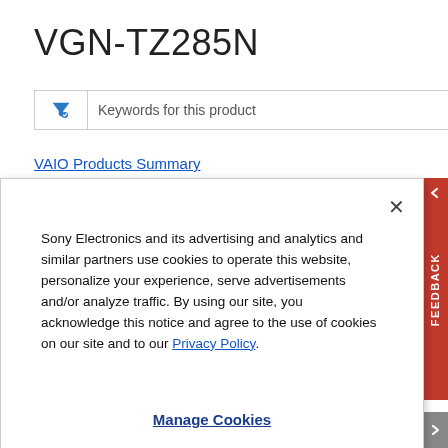VGN-TZ285N
[Figure (screenshot): Search/filter input box with funnel icon and placeholder text 'Keywords for this product']
VAIO Products Summary
[Figure (screenshot): Cookie consent modal dialog with close X button, body text about Sony Electronics cookies policy, Privacy Policy link, and Manage Cookies button]
Sony Electronics and its advertising and analytics and similar partners use cookies to operate this website, personalize your experience, serve advertisements and/or analyze traffic. By using our site, you acknowledge this notice and agree to the use of cookies on our site and to our Privacy Policy.
Manage Cookies